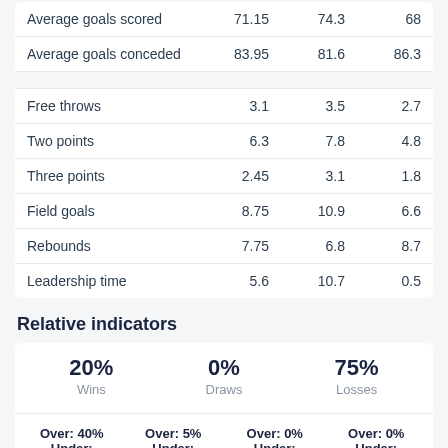|  |  |  |
| --- | --- | --- |
| Average goals scored | 71.15 | 74.3 | 68 |
| Average goals conceded | 83.95 | 81.6 | 86.3 |
| Free throws | 3.1 | 3.5 | 2.7 |
| Two points | 6.3 | 7.8 | 4.8 |
| Three points | 2.45 | 3.1 | 1.8 |
| Field goals | 8.75 | 10.9 | 6.6 |
| Rebounds | 7.75 | 6.8 | 8.7 |
| Leadership time | 5.6 | 10.7 | 0.5 |
Relative indicators
20% Wins   0% Draws   75% Losses
Over: 40%  Over: 5%  Over: 0%  Over: 0%
Under:     Under:    Under:    Under: